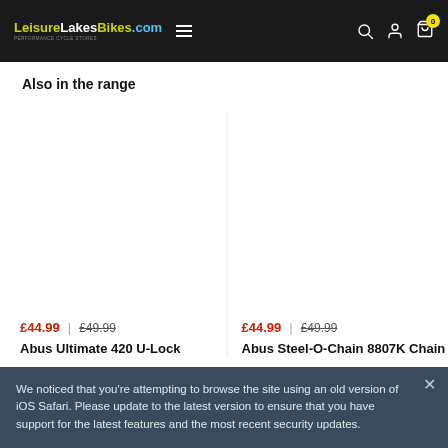LeisureLakesBikes.com
Also in the range
£44.99 | £49.99
Abus Ultimate 420 U-Lock
£44.99 | £49.99
Abus Steel-O-Chain 8807K Chain
We noticed that you're attempting to browse the site using an old version of iOS Safari. Please update to the latest version to ensure that you have support for the latest features and the most recent security updates.